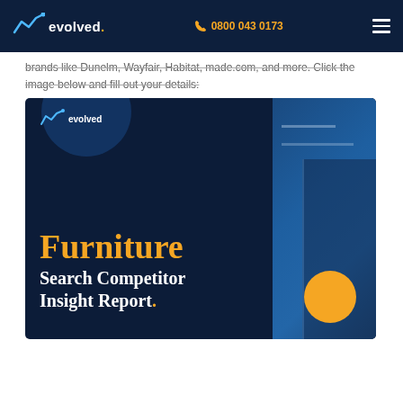evolved. | 0800 043 0173
brands like Dunelm, Wayfair, Habitat, made.com, and more. Click the image below and fill out your details:
[Figure (illustration): Promotional banner for 'Furniture Search Competitor Insight Report' by Evolved agency. Dark navy background with orange and blue decorative elements. Shows the Evolved logo, large orange 'Furniture' title text, and white 'Search Competitor Insight Report.' subtitle text, with an orange circle decoration and blue architectural photography on the right.]